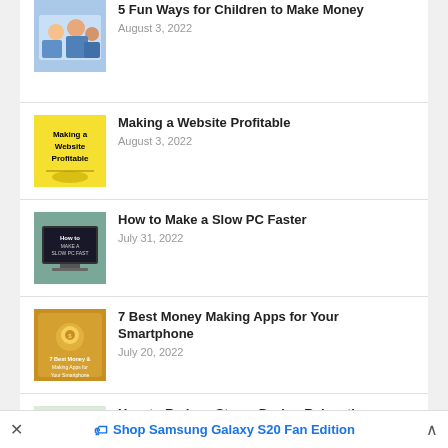5 Fun Ways for Children to Make Money
August 3, 2022
Making a Website Profitable
August 3, 2022
How to Make a Slow PC Faster
July 31, 2022
7 Best Money Making Apps for Your Smartphone
July 20, 2022
How to Reduce Stress During Relocation
Shop Samsung Galaxy S20 Fan Edition